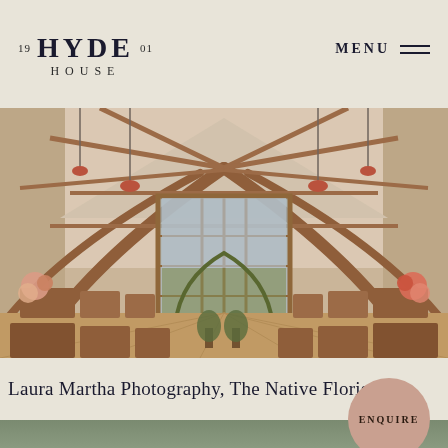19 HYDE 01 HOUSE | MENU
[Figure (photo): Interior of Hyde House barn wedding venue. High vaulted ceiling with exposed wooden oak beams in an arch structure. Large floor-to-ceiling windows at the far end with views of greenery outside. Rows of wooden cross-back chairs arranged in an aisle formation. Flowers and floral arrangements decorating the aisle ends. Hanging pendant lights with copper shades. White painted walls and light wooden flooring.]
Laura Martha Photography, The Native Florist
ENQUIRE